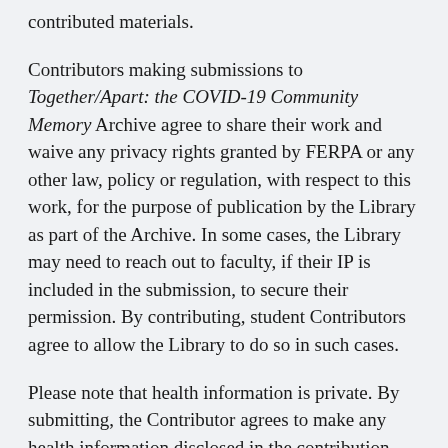contributed materials.
Contributors making submissions to Together/Apart: the COVID-19 Community Memory Archive agree to share their work and waive any privacy rights granted by FERPA or any other law, policy or regulation, with respect to this work, for the purpose of publication by the Library as part of the Archive. In some cases, the Library may need to reach out to faculty, if their IP is included in the submission, to secure their permission. By contributing, student Contributors agree to allow the Library to do so in such cases.
Please note that health information is private. By submitting, the Contributor agrees to make any health information disclosed in the contribution public.
Submitted material must not violate any confidentiality,